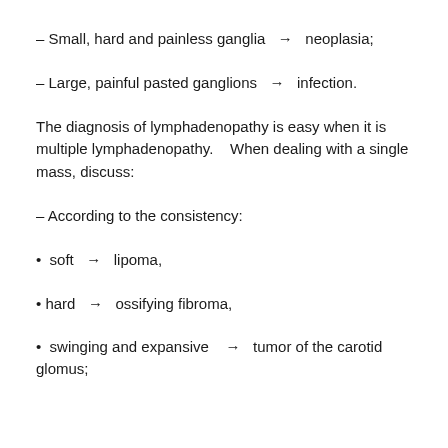– Small, hard and painless ganglia  →  neoplasia;
– Large, painful pasted ganglions  →  infection.
The diagnosis of lymphadenopathy is easy when it is multiple lymphadenopathy.   When dealing with a single mass, discuss:
– According to the consistency:
•  soft  →  lipoma,
• hard  →  ossifying fibroma,
•  swinging and expansive   →  tumor of the carotid glomus;